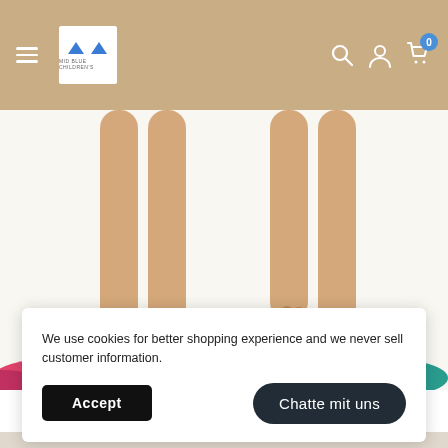Navigation bar with hamburger menu, logo, search, account, and cart icons (0 items)
[Figure (photo): Children's legs standing on a colorful play mat with pink and teal oval shapes at the bottom]
[Figure (illustration): Chinese text banner reading 模特展示 (Model Display) with a cartoon pineapple character wearing sunglasses and a heart decoration]
We use cookies for better shopping experience and we never sell customer information.
Accept
Chatte mit uns